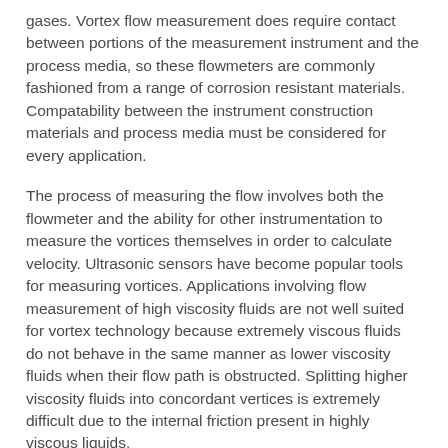gases. Vortex flow measurement does require contact between portions of the measurement instrument and the process media, so these flowmeters are commonly fashioned from a range of corrosion resistant materials. Compatability between the instrument construction materials and process media must be considered for every application.
The process of measuring the flow involves both the flowmeter and the ability for other instrumentation to measure the vortices themselves in order to calculate velocity. Ultrasonic sensors have become popular tools for measuring vortices. Applications involving flow measurement of high viscosity fluids are not well suited for vortex technology because extremely viscous fluids do not behave in the same manner as lower viscosity fluids when their flow path is obstructed. Splitting higher viscosity fluids into concordant vertices is extremely difficult due to the internal friction present in highly viscous liquids.
Additionally, in order to split these process liquids, the piping through which the process material flows must be straight, and disturbance or vibration in the pipe may impact the